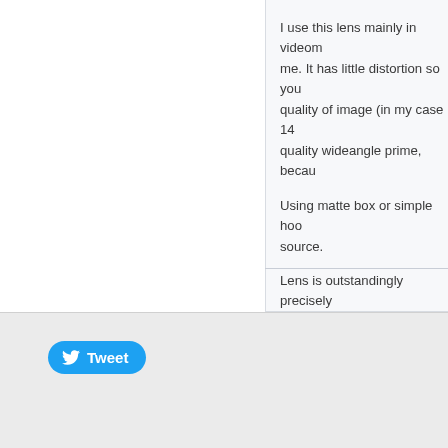I use this lens mainly in videom me. It has little distortion so you quality of image (in my case 14 quality wideangle prime, becau
Using matte box or simple hood source.
Lens is outstandingly precisely
Comments (0)
[Figure (other): Twitter Tweet button — a rounded blue button with the Twitter bird logo and the word Tweet]